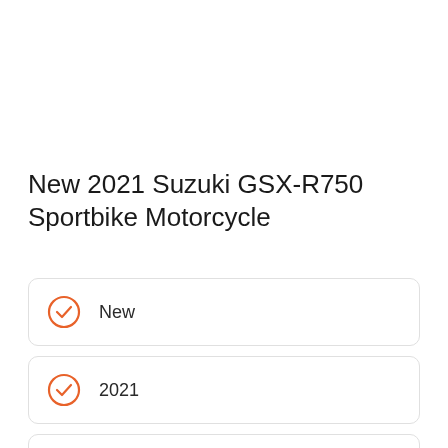New 2021 Suzuki GSX-R750 Sportbike Motorcycle
New
2021
Suzuki